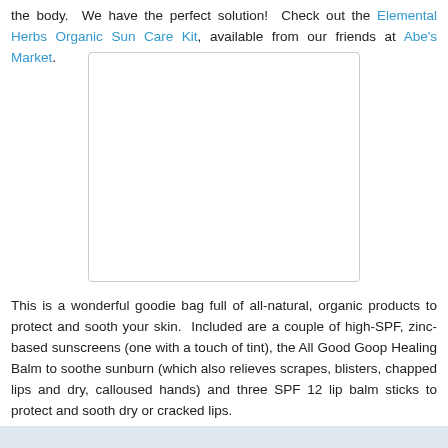the body. We have the perfect solution! Check out the Elemental Herbs Organic Sun Care Kit, available from our friends at Abe's Market.
[Figure (photo): Product image placeholder — white rectangle with light gray border representing the Elemental Herbs Organic Sun Care Kit product photo.]
This is a wonderful goodie bag full of all-natural, organic products to protect and sooth your skin. Included are a couple of high-SPF, zinc-based sunscreens (one with a touch of tint), the All Good Goop Healing Balm to soothe sunburn (which also relieves scrapes, blisters, chapped lips and dry, calloused hands) and three SPF 12 lip balm sticks to protect and sooth dry or cracked lips.